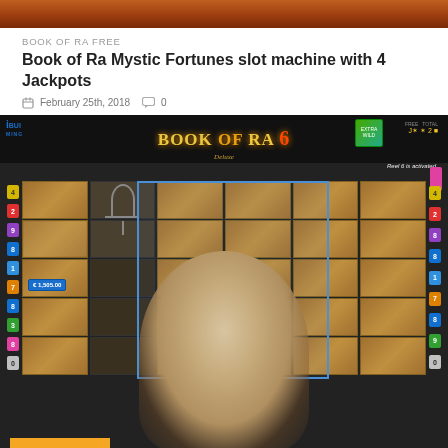[Figure (screenshot): Top cropped image of Book of Ra slot machine with fiery orange/red tones]
BOOK OF RA FREE
Book of Ra Mystic Fortunes slot machine with 4 Jackpots
February 25th, 2018   0
[Figure (screenshot): Screenshot of Book of Ra 6 Deluxe slot machine game showing reels filled with explorer character symbols, with a man in glasses celebrating in front of the screen. Blue highlight frames reels 3-5. Side number strips show payline numbers. Bottom shows win amounts.]
Translate »